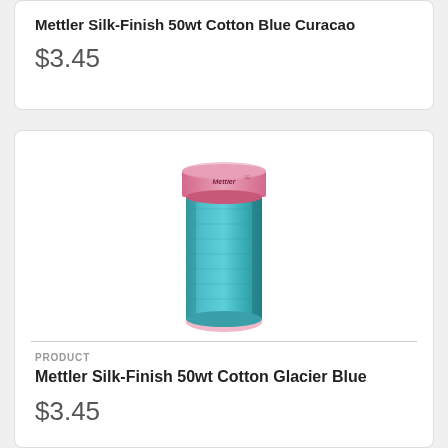Mettler Silk-Finish 50wt Cotton Blue Curacao
$3.45
[Figure (photo): A spool of teal/glacier blue thread with a pink label at the top reading 'Mettler', centered on white background]
PRODUCT
Mettler Silk-Finish 50wt Cotton Glacier Blue
$3.45